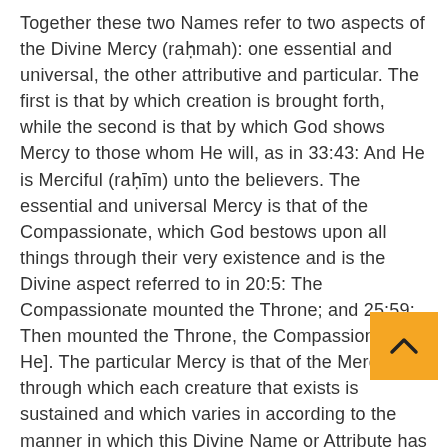Together these two Names refer to two aspects of the Divine Mercy (raḥmah): one essential and universal, the other attributive and particular. The first is that by which creation is brought forth, while the second is that by which God shows Mercy to those whom He will, as in 33:43: And He is Merciful (raḥīm) unto the believers. The essential and universal Mercy is that of the Compassionate, which God bestows upon all things through their very existence and is the Divine aspect referred to in 20:5: The Compassionate mounted the Throne; and 25:59: Then mounted the Throne, the Compassionate [is He]. The particular Mercy is that of the Merciful, through which each creature that exists is sustained and which varies in according to the manner in which this Divine Name or Attribute has become manifest. It is evident that Divine